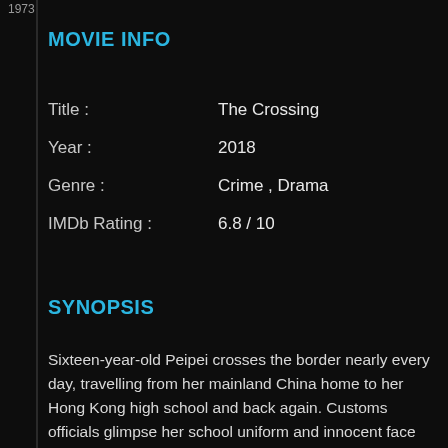1973
MOVIE INFO
| Field | Value |
| --- | --- |
| Title : | The Crossing |
| Year : | 2018 |
| Genre : | Crime , Drama |
| IMDb Rating : | 6.8 / 10 |
SYNOPSIS
Sixteen-year-old Peipei crosses the border nearly every day, travelling from her mainland China home to her Hong Kong high school and back again. Customs officials glimpse her school uniform and innocent face and wave her through without a second thought. But Peipei is about to become involved in some illicit activities that will render her routine into something highly